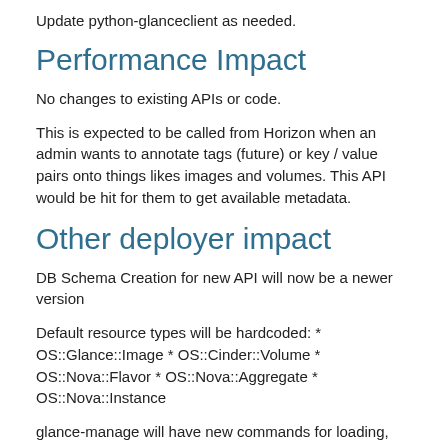Update python-glanceclient as needed.
Performance Impact
No changes to existing APIs or code.
This is expected to be called from Horizon when an admin wants to annotate tags (future) or key / value pairs onto things likes images and volumes. This API would be hit for them to get available metadata.
Other deployer impact
DB Schema Creation for new API will now be a newer version
Default resource types will be hardcoded: * OS::Glance::Image * OS::Cinder::Volume * OS::Nova::Flavor * OS::Nova::Aggregate * OS::Nova::Instance
glance-manage will have new commands for loading, unloading, and exporting metadata definitions: * db_load_metadefs - Loads metadata definitions from a specified directory * db_unload_metadefs - Unloads all metadata definitions in the database * db_export_metadefs - Exports metadata definitions to s